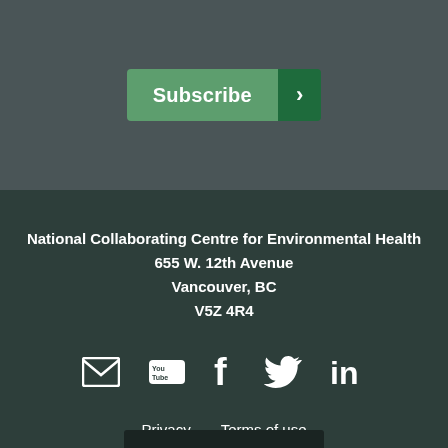[Figure (screenshot): Subscribe button with green background and dark green arrow chevron]
National Collaborating Centre for Environmental Health
655 W. 12th Avenue
Vancouver, BC
V5Z 4R4
[Figure (infographic): Social media icons: email, YouTube, Facebook, Twitter, LinkedIn]
Privacy    Terms of use